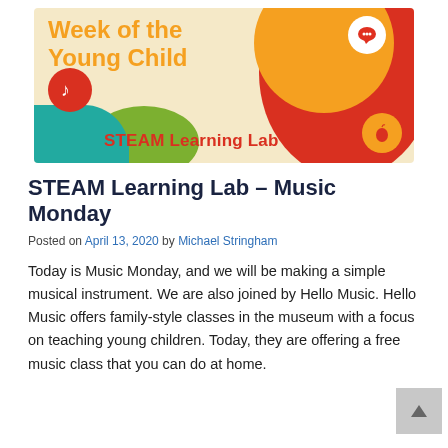[Figure (infographic): Week of the Young Child – STEAM Learning Lab banner with colorful circles, music note icon, chat bubble icon, apple icon on a cream/tan background]
STEAM Learning Lab – Music Monday
Posted on April 13, 2020 by Michael Stringham
Today is Music Monday, and we will be making a simple musical instrument. We are also joined by Hello Music. Hello Music offers family-style classes in the museum with a focus on teaching young children. Today, they are offering a free music class that you can do at home.